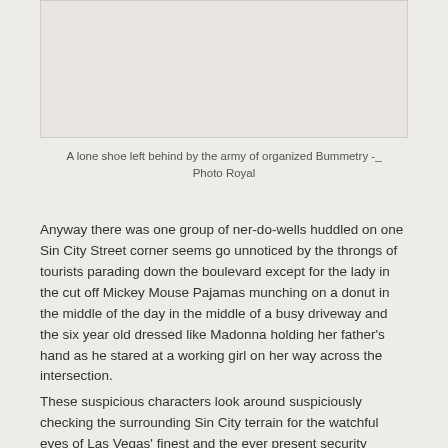[Figure (photo): A photo placeholder box showing a lone shoe left behind by the army of organized Bummetry]
A lone shoe left behind by the army of organized Bummetry -_ Photo Royal
Anyway there was one group of ner-do-wells huddled on one Sin City Street corner seems go unnoticed by the throngs of tourists parading down the boulevard except for the lady in the cut off Mickey Mouse Pajamas munching on a donut in the middle of the day in the middle of a busy driveway and the six year old dressed like Madonna holding her father's hand as he stared at a working girl on her way across the intersection.
These suspicious characters look around suspiciously checking the surrounding Sin City terrain for the watchful eyes of Las Vegas' finest and the ever present security